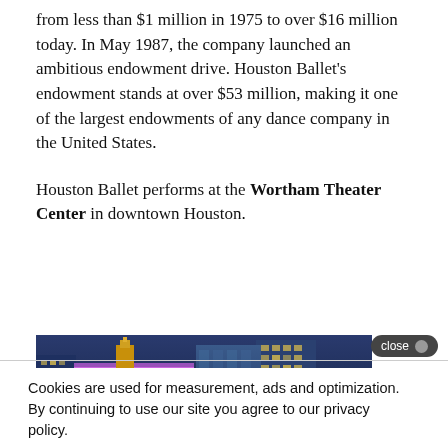from less than $1 million in 1975 to over $16 million today. In May 1987, the company launched an ambitious endowment drive. Houston Ballet's endowment stands at over $53 million, making it one of the largest endowments of any dance company in the United States.
Houston Ballet performs at the Wortham Theater Center in downtown Houston.
[Figure (photo): Night/dusk cityscape of downtown Houston showing illuminated skyscrapers and a building with purple/pink lighting.]
Cookies are used for measurement, ads and optimization. By continuing to use our site you agree to our privacy policy.
ACCEPT >